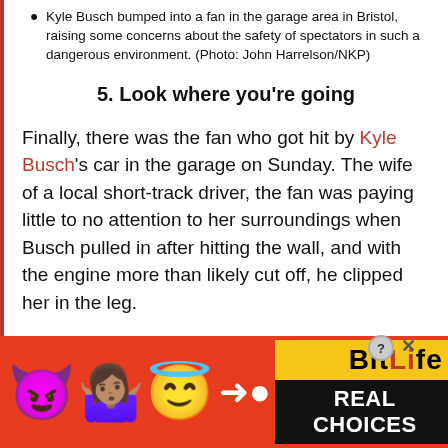Kyle Busch bumped into a fan in the garage area in Bristol, raising some concerns about the safety of spectators in such a dangerous environment. (Photo: John Harrelson/NKP)
5. Look where you're going
Finally, there was the fan who got hit by Kyle Busch's car in the garage on Sunday. The wife of a local short-track driver, the fan was paying little to no attention to her surroundings when Busch pulled in after hitting the wall, and with the engine more than likely cut off, he clipped her in the leg.
[Figure (infographic): Advertisement banner for BitLife game featuring emojis (devil, woman shrugging, angel, sperm) on red background with yellow BitLife logo and black 'REAL CHOICES' text]